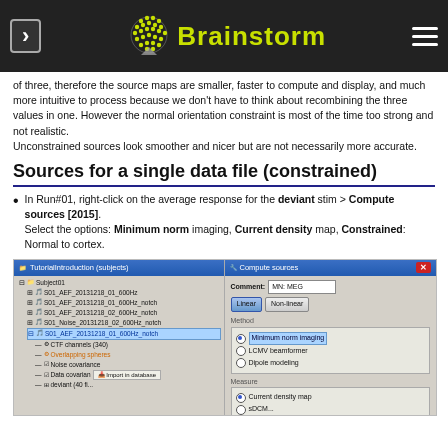Brainstorm
of three, therefore the source maps are smaller, faster to compute and display, and much more intuitive to process because we don't have to think about recombining the three values in one. However the normal orientation constraint is most of the time too strong and not realistic. Unconstrained sources look smoother and nicer but are not necessarily more accurate.
Sources for a single data file (constrained)
In Run#01, right-click on the average response for the deviant stim > Compute sources [2015]. Select the options: Minimum norm imaging, Current density map, Constrained: Normal to cortex.
[Figure (screenshot): Screenshot showing two windows: left panel is Brainstorm TutorialIntroduction (subjects) tree with Subject01 and several MEG files listed; right panel is Compute sources dialog with Comment MN: MEG, Linear/Non-linear buttons, Method options (Minimum norm imaging selected, LCMV beamformer, Dipole modeling), and Measure section with Current density map selected.]